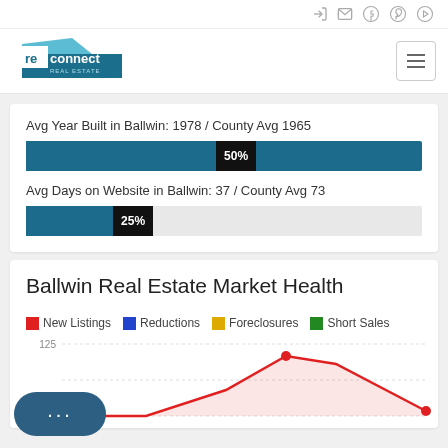[Figure (logo): Reconnect Real Estate logo — teal/blue geometric shapes with 're' in white box and 'connect' in text, 'REAL ESTATE' below]
Avg Year Built in Ballwin: 1978 / County Avg 1965
[Figure (bar-chart): Avg Year Built]
Avg Days on Website in Ballwin: 37 / County Avg 73
[Figure (bar-chart): Avg Days on Website]
Ballwin Real Estate Market Health
[Figure (line-chart): Line chart showing New Listings (red), Reductions (blue), Foreclosures (gold), Short Sales (green) over time. Y-axis shows values 75 to 125. A red line peaks around 100+ in the visible area.]